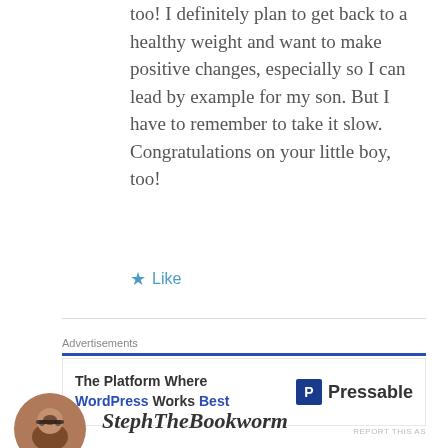too! I definitely plan to get back to a healthy weight and want to make positive changes, especially so I can lead by example for my son. But I have to remember to take it slow. Congratulations on your little boy, too!
★ Like
Advertisements
[Figure (infographic): Advertisement banner: 'The Platform Where WordPress Works Best' with Pressable logo on the right]
REPORT THIS AS
[Figure (photo): Circular avatar photo of a woman with glasses]
StephTheBookworm